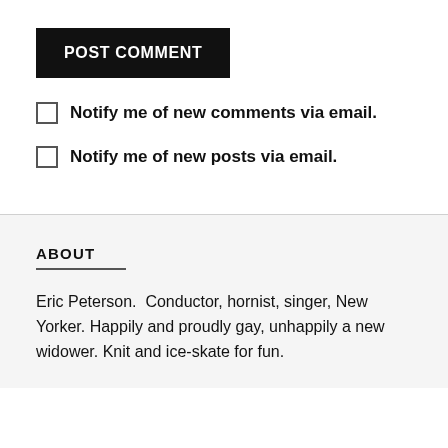POST COMMENT
Notify me of new comments via email.
Notify me of new posts via email.
ABOUT
Eric Peterson.  Conductor, hornist, singer, New Yorker. Happily and proudly gay, unhappily a new widower. Knit and ice-skate for fun.